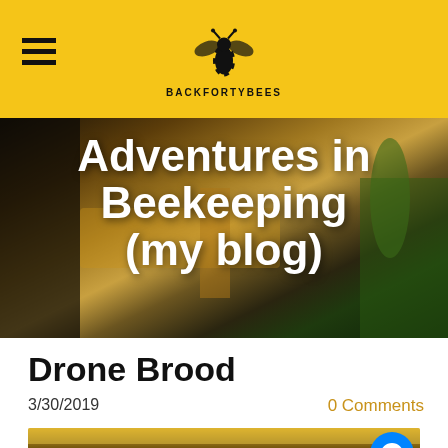BACKFORTYBEES
[Figure (photo): Beekeeping hive box with bees on it, outdoors with greenery in background. Overlaid bold white text: Adventures in Beekeeping (my blog)]
Drone Brood
3/30/2019
0 Comments
[Figure (photo): Close-up of honeycomb frame with bees crawling on it, showing capped brood cells and pollen.]